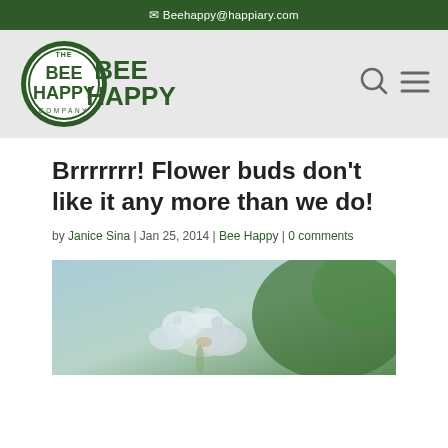✉ Beehappy@happiary.com
[Figure (logo): The Bee Happy Company circular green logo with bold text]
Brrrrrrr! Flower buds don't like it any more than we do!
by Janice Sina | Jan 25, 2014 | Bee Happy | 0 comments
[Figure (photo): Close-up macro photo of frozen flower buds covered in ice crystals with blurred green background]